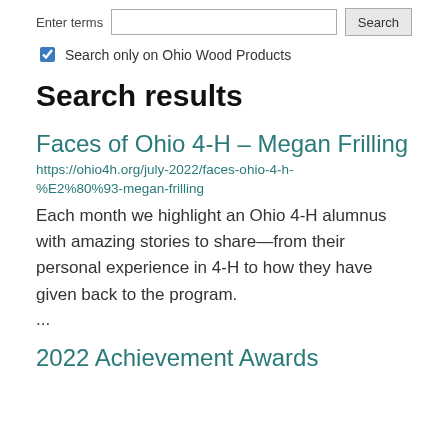Enter terms  [input]  Search
☑ Search only on Ohio Wood Products
Search results
Faces of Ohio 4-H – Megan Frilling
https://ohio4h.org/july-2022/faces-ohio-4-h-%E2%80%93-megan-frilling
Each month we highlight an Ohio 4-H alumnus with amazing stories to share—from their personal experience in 4-H to how they have given back to the program. ...
2022 Achievement Awards